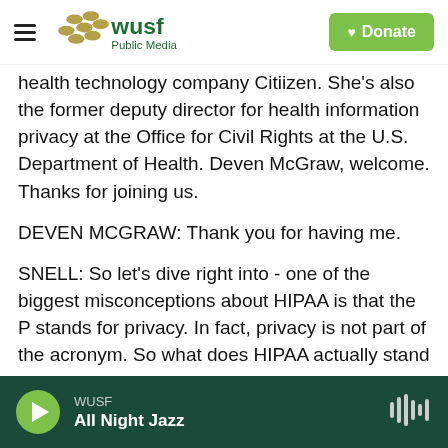WUSF Public Media | Donate
health technology company Citiizen. She's also the former deputy director for health information privacy at the Office for Civil Rights at the U.S. Department of Health. Deven McGraw, welcome. Thanks for joining us.
DEVEN MCGRAW: Thank you for having me.
SNELL: So let's dive right into - one of the biggest misconceptions about HIPAA is that the P stands for privacy. In fact, privacy is not part of the acronym. So what does HIPAA actually stand for? And what's its main purpose?
WUSF | All Night Jazz